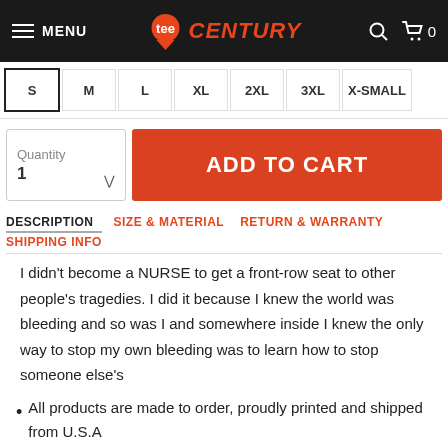MENU | CENTURY | Search | Cart 0
S M L XL 2XL 3XL X-SMALL (size selector)
Quantity 1 | ADD TO CART
DESCRIPTION | SIZE & MATERIAL | RETURN & WARRANTY | SHIPPING INFO
I didn't become a NURSE to get a front-row seat to other people's tragedies. I did it because I knew the world was bleeding and so was I and somewhere inside I knew the only way to stop my own bleeding was to learn how to stop someone else's
All products are made to order, proudly printed and shipped from U.S.A